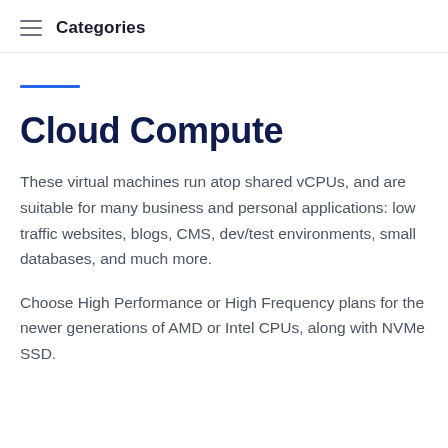Categories
Cloud Compute
These virtual machines run atop shared vCPUs, and are suitable for many business and personal applications: low traffic websites, blogs, CMS, dev/test environments, small databases, and much more.
Choose High Performance or High Frequency plans for the newer generations of AMD or Intel CPUs, along with NVMe SSD.